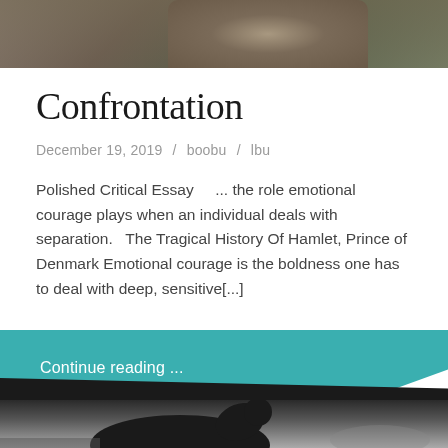[Figure (photo): Top portion of a photo showing rocks or stone with natural texture, brown/green tones, cropped at top of page]
Confrontation
December 19, 2019  /  boobu  /  lbu
Polished Critical Essay    ... the role emotional courage plays when an individual deals with separation.   The Tragical History Of Hamlet, Prince of Denmark Emotional courage is the boldness one has to deal with deep, sensitive[...]
Continue reading ...
[Figure (photo): Black and white photograph of a horse with bridle, standing in an outdoor field or paddock, partially cropped at bottom of page]